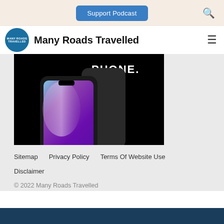Support Podcast
Many Roads Travelled
[Figure (photo): A smartphone with a purple gradient display against a black background, with partial text 'PHONE.' visible at the top right.]
Sitemap
Privacy Policy
Terms Of Website Use
Disclaimer
© 2022 Many Roads Travelled